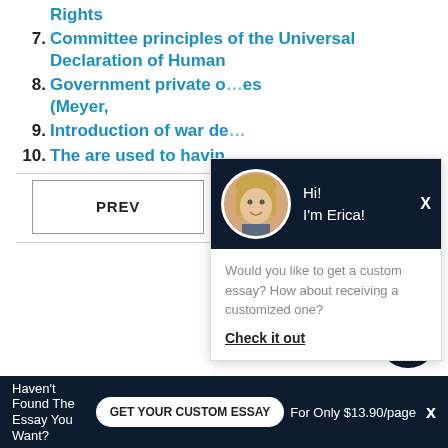Rights
7. Committee principles of the Universal Declaration of Human
8. Government private o... (Meyer,
9. Introduction of war de...
10. The are used to havin...
[Figure (screenshot): Chat popup with avatar of woman named Erica, dark navy header, asking if user wants a custom essay with 'Check it out' link]
PREV
Haven't Found The Essay You Want? GET YOUR CUSTOM ESSAY For Only $13.90/page